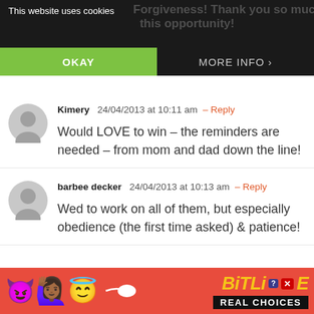This website uses cookies | Forgiveness! Thank you so much for this opportunity! | OKAY | MORE INFO
Kimery  24/04/2013 at 10:11 am  – Reply

Would LOVE to win – the reminders are needed – from mom and dad down the line!
barbee decker  24/04/2013 at 10:13 am  – Reply

Wed to work on all of them, but especially obedience (the first time asked) & patience!
[Figure (screenshot): BitLife - Real Choices advertisement banner with emoji characters and yellow BitLife logo on red background]